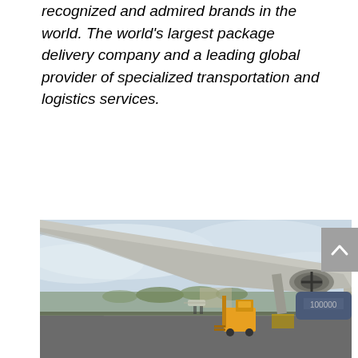recognized and admired brands in the world. The world's largest package delivery company and a leading global provider of specialized transportation and logistics services.
[Figure (photo): A cargo aircraft on a tarmac with a yellow forklift nearby. The wing of the aircraft is prominently visible in the foreground, with ground handling equipment and airport buildings in the background under a cloudy sky.]